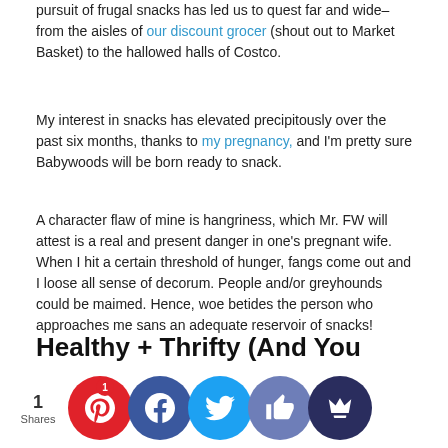pursuit of frugal snacks has led us to quest far and wide–from the aisles of our discount grocer (shout out to Market Basket) to the hallowed halls of Costco.
My interest in snacks has elevated precipitously over the past six months, thanks to my pregnancy, and I'm pretty sure Babywoods will be born ready to snack.
A character flaw of mine is hangriness, which Mr. FW will attest is a real and present danger in one's pregnant wife. When I hit a certain threshold of hunger, fangs come out and I loose all sense of decorum. People and/or greyhounds could be maimed. Hence, woe betides the person who approaches me sans an adequate reservoir of snacks!
Healthy + Thrifty (And You Know It)
As an inveterate pursuer of the two-fold goal of healthy and frugal, snack menu a typ ekday es any all if e me) followi rots, b green er,